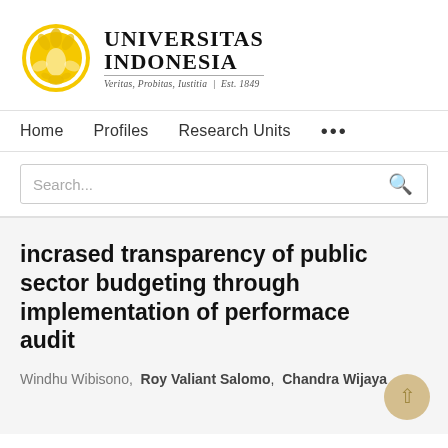[Figure (logo): Universitas Indonesia logo with golden emblem and text: UNIVERSITAS INDONESIA, Veritas, Probitas, Iustitia | Est. 1849]
Home   Profiles   Research Units   ...
Search...
incrased transparency of public sector budgeting through implementation of performace audit
Windhu Wibisono,  Roy Valiant Salomo,  Chandra Wijaya